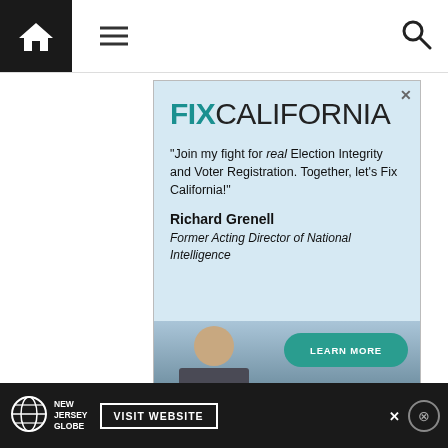Navigation bar with home, menu, and search icons
[Figure (infographic): Fix California advertisement. Bold teal 'FIX' and dark 'CALIFORNIA' logo at top. Quote: 'Join my fight for real Election Integrity and Voter Registration. Together, let's Fix California!' by Richard Grenell, Former Acting Director of National Intelligence. Photo of a man against a mountain/lake background. Teal 'LEARN MORE' button.]
[Figure (infographic): New Jersey Globe advertisement banner. Globe icon, 'NEW JERSEY GLOBE' text, 'VISIT WEBSITE' button, close icons.]